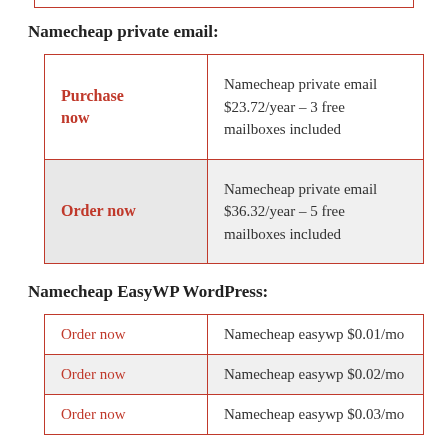Namecheap private email:
| Purchase now | Namecheap private email $23.72/year – 3 free mailboxes included |
| Order now | Namecheap private email $36.32/year – 5 free mailboxes included |
Namecheap EasyWP WordPress:
| Order now | Namecheap easywp $0.01/mo |
| Order now | Namecheap easywp $0.02/mo |
| Order now | Namecheap easywp $0.03/mo |